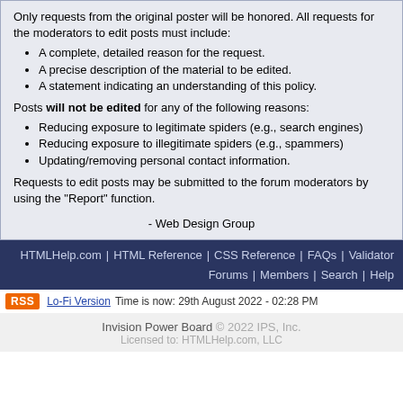Only requests from the original poster will be honored. All requests for the moderators to edit posts must include:
A complete, detailed reason for the request.
A precise description of the material to be edited.
A statement indicating an understanding of this policy.
Posts will not be edited for any of the following reasons:
Reducing exposure to legitimate spiders (e.g., search engines)
Reducing exposure to illegitimate spiders (e.g., spammers)
Updating/removing personal contact information.
Requests to edit posts may be submitted to the forum moderators by using the "Report" function.
- Web Design Group
HTMLHelp.com | HTML Reference | CSS Reference | FAQs | Validator
Forums | Members | Search | Help
RSS Lo-Fi Version Time is now: 29th August 2022 - 02:28 PM
Invision Power Board © 2022 IPS, Inc. Licensed to: HTMLHelp.com, LLC